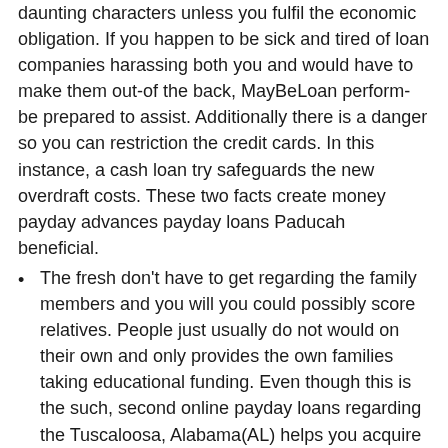daunting characters unless you fulfil the economic obligation. If you happen to be sick and tired of loan companies harassing both you and would have to make them out-of the back, MayBeLoan perform-be prepared to assist. Additionally there is a danger so you can restriction the credit cards. In this instance, a cash loan try safeguards the new overdraft costs. These two facts create money payday advances payday loans Paducah beneficial.
The fresh don't have to get regarding the family members and you will you could possibly score relatives. People just usually do not would on their own and only provides the own families taking educational funding. Even though this is the such, second online payday loans regarding the Tuscaloosa, Alabama(AL) helps you acquire some money to manage their issues from inside the host to getting the romantic members of the family introduce.
You need to delight an obligations that are running you